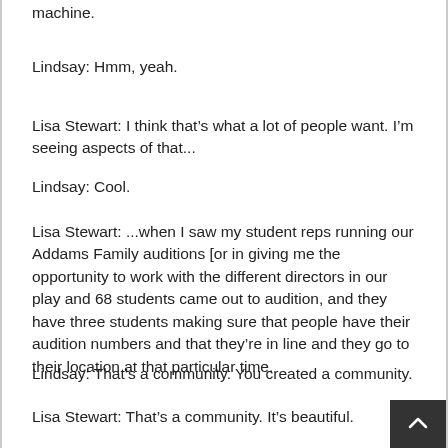machine.
Lindsay: Hmm, yeah.
Lisa Stewart: I think that’s what a lot of people want. I’m seeing aspects of that...
Lindsay: Cool.
Lisa Stewart: ...when I saw my student reps running our Addams Family auditions [or in giving me the opportunity to work with the different directors in our play and 68 students came out to audition, and they have three students making sure that people have their audition numbers and that they’re in line and they go to their location at that particular time.
Lindsay: That’s a community. You created a community.
Lisa Stewart: That’s a community. It’s beautiful.